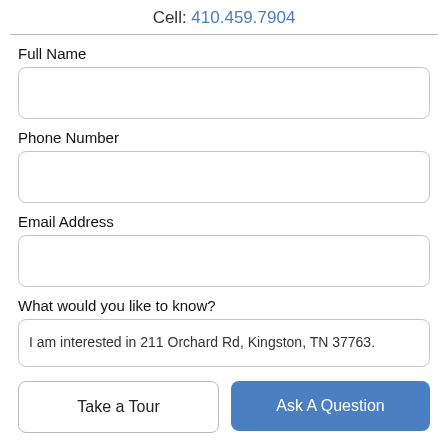Cell: 410.459.7904
Full Name
Phone Number
Email Address
What would you like to know?
I am interested in 211 Orchard Rd, Kingston, TN 37763.
Take a Tour
Ask A Question